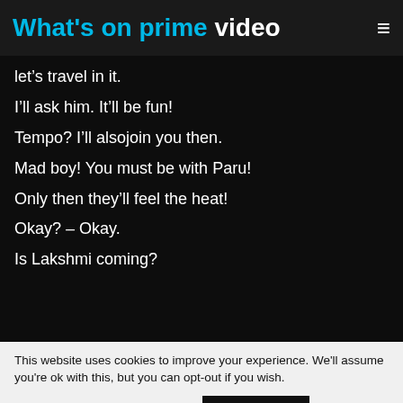What's on prime video
let's travel in it.
I'll ask him. It'll be fun!
Tempo? I'll alsojoin you then.
Mad boy! You must be with Paru!
Only then they'll feel the heat!
Okay? – Okay.
Is Lakshmi coming?
This website uses cookies to improve your experience. We'll assume you're ok with this, but you can opt-out if you wish.
Cookie settings
ACCEPT